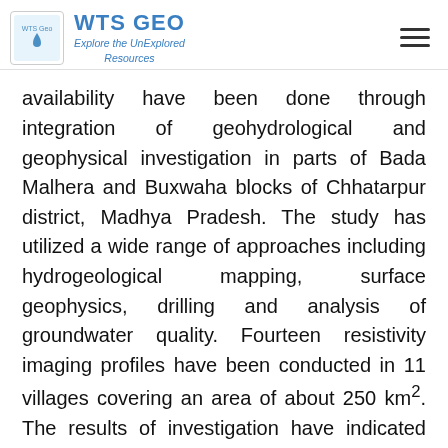WTS GEO — Explore the UnExplored Resources
availability have been done through integration of geohydrological and geophysical investigation in parts of Bada Malhera and Buxwaha blocks of Chhatarpur district, Madhya Pradesh. The study has utilized a wide range of approaches including hydrogeological mapping, surface geophysics, drilling and analysis of groundwater quality. Fourteen resistivity imaging profiles have been conducted in 11 villages covering an area of about 250 km². The results of investigation have indicated very good logical match between the 2-D